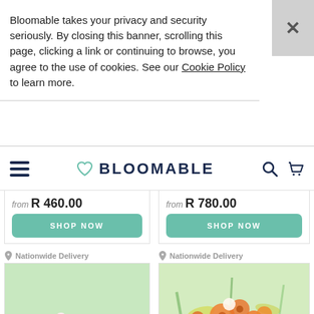Bloomable takes your privacy and security seriously. By closing this banner, scrolling this page, clicking a link or continuing to browse, you agree to the use of cookies. See our Cookie Policy to learn more.
[Figure (logo): Bloomable logo with heart icon, hamburger menu, search and cart icons]
from R 460.00
SHOP NOW
from R 780.00
SHOP NOW
Nationwide Delivery
Nationwide Delivery
[Figure (photo): Pink flower bouquet arrangement]
[Figure (photo): Orange and mixed flower bouquet arrangement with chat bubble icon]